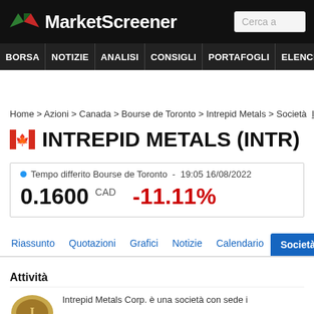MarketScreener — Cerca a
BORSA NOTIZIE ANALISI CONSIGLI PORTAFOGLI ELENCHI MIGLIO
Home > Azioni > Canada > Bourse de Toronto > Intrepid Metals > Società   INTR
INTREPID METALS (INTR)
Tempo differito Bourse de Toronto  -  19:05 16/08/2022
0.1600 CAD   -11.11%
Riassunto  Quotazioni  Grafici  Notizie  Calendario  Società  Fi
Attività
Intrepid Metals Corp. è una società con sede i